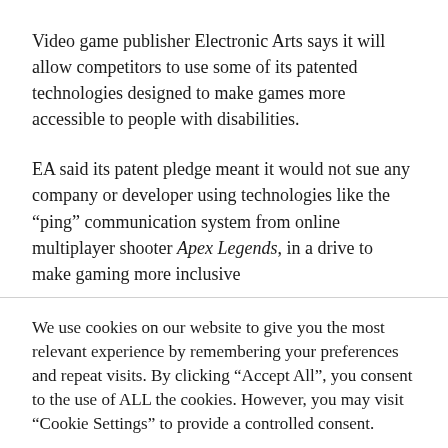Video game publisher Electronic Arts says it will allow competitors to use some of its patented technologies designed to make games more accessible to people with disabilities.
EA said its patent pledge meant it would not sue any company or developer using technologies like the “ping” communication system from online multiplayer shooter Apex Legends, in a drive to make gaming more inclusive
We use cookies on our website to give you the most relevant experience by remembering your preferences and repeat visits. By clicking “Accept All”, you consent to the use of ALL the cookies. However, you may visit “Cookie Settings” to provide a controlled consent.